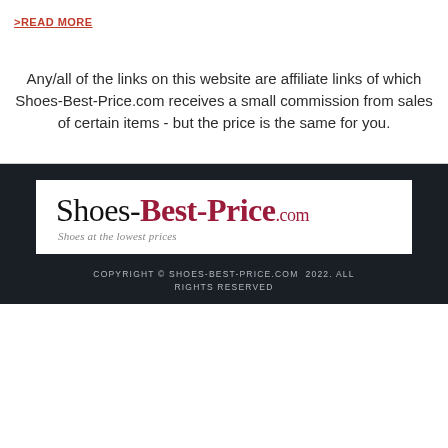>READ MORE
Any/all of the links on this website are affiliate links of which Shoes-Best-Price.com receives a small commission from sales of certain items - but the price is the same for you.
[Figure (logo): Shoes-Best-Price.com logo with tagline 'Shoes at the lowest prices']
COPYRIGHT © SHOES-BEST-PRICE.COM 2022. ALL RIGHTS RESERVED